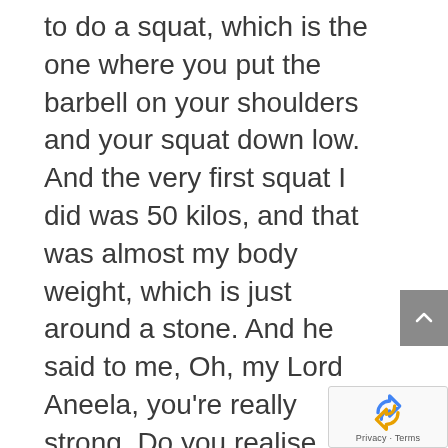to do a squat, which is the one where you put the barbell on your shoulders and your squat down low. And the very first squat I did was 50 kilos, and that was almost my body weight, which is just around a stone. And he said to me, Oh, my Lord Aneela, you're really strong. Do you realise, and I didn't know. And basically, it started from there. That's what happened. I then just got addicted to heavy weights and got better and better and stronger and stronger. And then he said, Right, I'm putting you in for a competition because you're really strong. And we need to show you off to the world. So that's what happened.